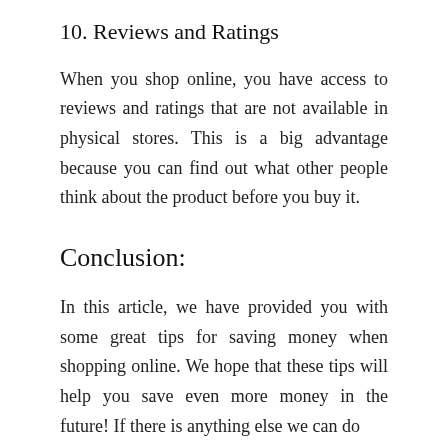10. Reviews and Ratings
When you shop online, you have access to reviews and ratings that are not available in physical stores. This is a big advantage because you can find out what other people think about the product before you buy it.
Conclusion:
In this article, we have provided you with some great tips for saving money when shopping online. We hope that these tips will help you save even more money in the future! If there is anything else we can do